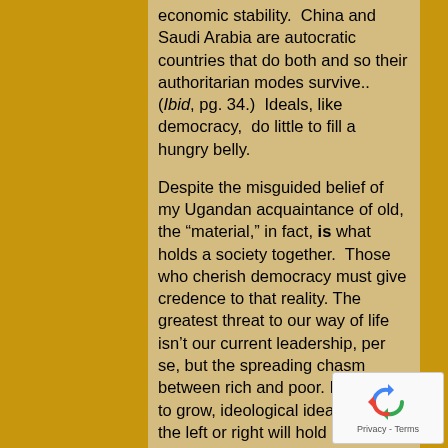economic stability.  China and Saudi Arabia are autocratic countries that do both and so their authoritarian modes survive..  (Ibid, pg. 34.)  Ideals, like democracy,  do little to fill a hungry belly.
Despite the misguided belief of my Ugandan acquaintance of old, the "material," in fact, is what  holds a society together.  Those who cherish democracy must give credence to that reality. The greatest threat to our way of life isn't our current leadership, per se, but the spreading chasm between rich and poor. If allowed to grow, ideological ideals from the left or right will hold little value.  Worse, without a common ground, all they can achieve is to shut down of our democracy.
But even without discord, dissolution may be inevitable.  If  Republicans continue to have a free  hand, they will whittle away
[Figure (other): reCAPTCHA privacy badge with recycling-arrow logo and Privacy - Terms text]